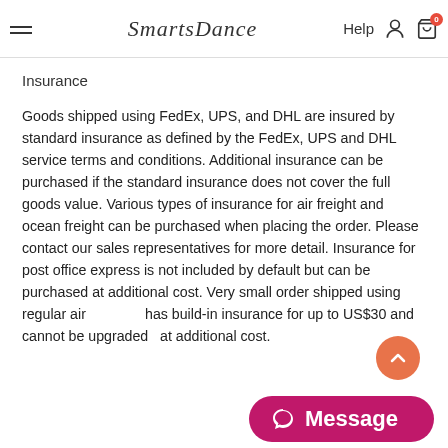SmartsDance — Help
Insurance
Goods shipped using FedEx, UPS, and DHL are insured by standard insurance as defined by the FedEx, UPS and DHL service terms and conditions. Additional insurance can be purchased if the standard insurance does not cover the full goods value. Various types of insurance for air freight and ocean freight can be purchased when placing the order. Please contact our sales representatives for more detail. Insurance for post office express is not included by default but can be purchased at additional cost. Very small order shipped using regular air has build-in insurance for up to US$30 and cannot be upgraded at additional cost.